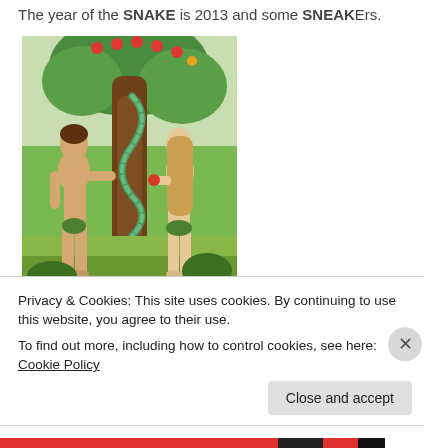The year of the SNAKE is 2013 and some SNEAKErs.
[Figure (illustration): Classical illustration of Adam and Eve in the Garden of Eden. A man stands on the left and a woman with long hair stands on the right near a large tree. A snake is coiled around the tree. The woman holds an apple offered by the snake. Lush garden background with apple trees and tropical plants.]
Privacy & Cookies: This site uses cookies. By continuing to use this website, you agree to their use.
To find out more, including how to control cookies, see here: Cookie Policy